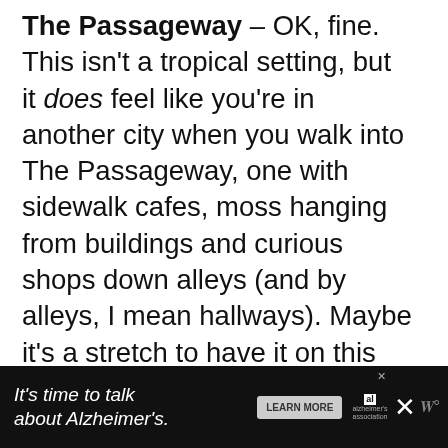The Passageway – OK, fine. This isn't a tropical setting, but it does feel like you're in another city when you walk into The Passageway, one with sidewalk cafes, moss hanging from buildings and curious shops down alleys (and by alleys, I mean hallways). Maybe it's a stretch to have it on this list, but it is a warm, indoor setting where you can stroll around and explore different shops.
[Figure (screenshot): UI overlay with heart/like button (blue circle), share count badge showing 83 in orange teardrop shape with share icon]
[Figure (screenshot): Related content widget showing thumbnail image and text 'SkateDaze In Omaha']
[Figure (screenshot): Advertisement banner at bottom: black background with italic white text 'It's time to talk about Alzheimer's.' with Learn More button, Alzheimer's Association logo, X icon and W icon]